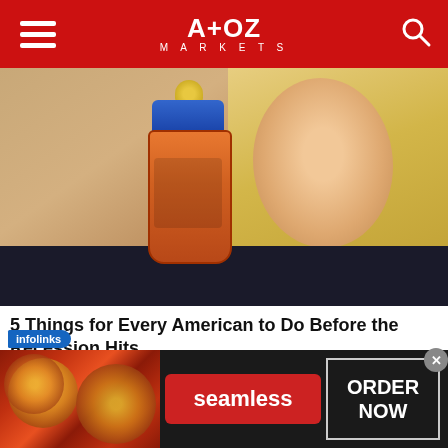A+OZ MARKETS
[Figure (photo): Woman holding a small baby bottle (orange body, blue cap, yellow nipple) up to her face, looking at the camera. Blonde hair. Background appears to be outdoors.]
5 Things for Every American to Do Before the Recession Hits
The Penny Hoarder
[Figure (screenshot): Advertisement banner from Seamless food delivery service over a dark background with pizza imagery on the left, a red 'seamless' branded button in the center, and an 'ORDER NOW' button on the right. An 'infolinks' badge appears at the top left. A close (×) button at top right.]